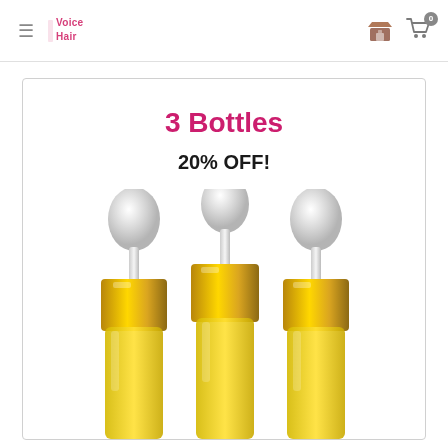Voice Hair — navigation header with hamburger menu, logo, store icon, and cart icon with badge 0
3 Bottles
20% OFF!
[Figure (photo): Three dropper bottles with white rubber bulb tops, gold metallic screw caps, and yellow/golden liquid inside, arranged side by side with the center bottle slightly forward]